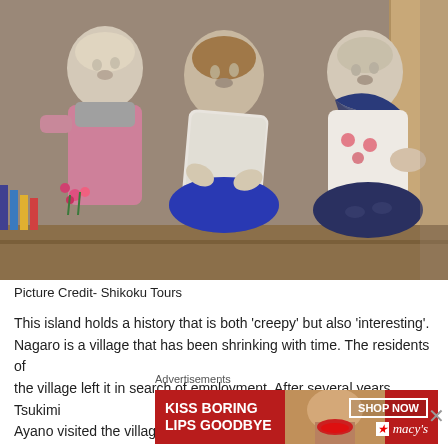[Figure (photo): Three life-sized cloth dolls dressed in traditional Japanese clothing, seated on a wooden bench. Left doll wears pink patterned outfit with grey scarf and holds flowers. Middle doll wears white embroidered outfit and leans forward. Right doll wears white top with navy patterned skirt and blue scarf.]
Picture Credit- Shikoku Tours
This island holds a history that is both 'creepy' but also 'interesting'. Nagaro is a village that has been shrinking with time. The residents of the village left it in search of employment. After several years, Tsukimi Ayano visited the village and made the dolls in remembrance of ev...
Advertisements
[Figure (screenshot): Macy's advertisement banner with red background showing 'KISS BORING LIPS GOODBYE' text in white on left, woman's face with red lips in center, and SHOP NOW button with Macy's star logo on right.]